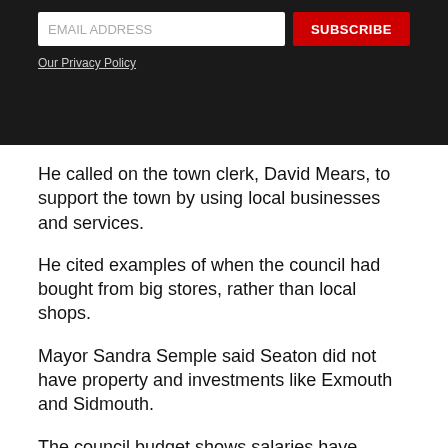[Figure (screenshot): Dark banner with email input field, red SUBSCRIBE button, and 'Our Privacy Policy' underlined link in white/grey text on dark background]
He called on the town clerk, David Mears, to support the town by using local businesses and services.
He cited examples of when the council had bought from big stores, rather than local shops.
Mayor Sandra Semple said Seaton did not have property and investments like Exmouth and Sidmouth.
The council budget shows salaries have almost tripled since last year, from ◆19,213 to 57,529.
Other costs include over ◆3,000 for consultancy fees; ◆2,500 for training; ◆2,200 for insurance; ◆2,400 for